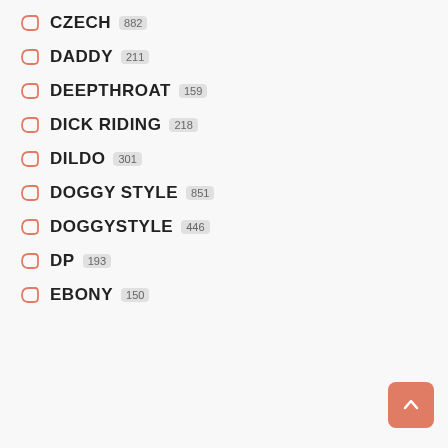CZECH 882
DADDY 211
DEEPTHROAT 159
DICK RIDING 218
DILDO 301
DOGGY STYLE 851
DOGGYSTYLE 446
DP 193
EBONY 150